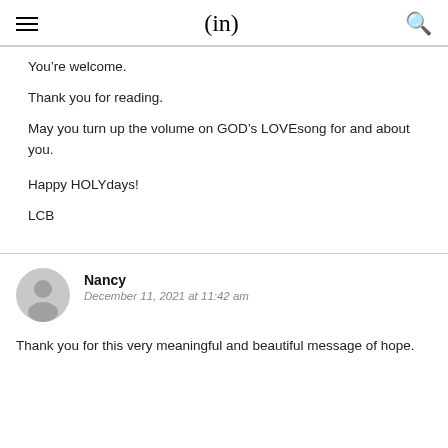(in)
You’re welcome.
Thank you for reading.
May you turn up the volume on GOD’s LOVEsong for and about you.

Happy HOLYdays!
LCB
Nancy
December 11, 2021 at 11:42 am
Thank you for this very meaningful and beautiful message of hope.